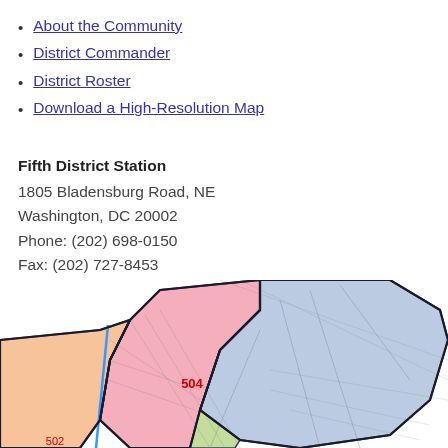About the Community
District Commander
District Roster
Download a High-Resolution Map
Fifth District Station
1805 Bladensburg Road, NE
Washington, DC 20002
Phone: (202) 698-0150
Fax: (202) 727-8453
[Figure (map): Partial district map showing colored police district zones including area 504 in pink/red, with blue and orange zones, street grid overlay, and black boundary lines.]